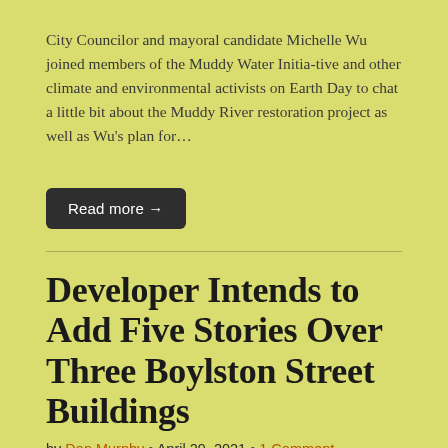City Councilor and mayoral candidate Michelle Wu joined members of the Muddy Water Initia-tive and other climate and environmental activists on Earth Day to chat a little bit about the Muddy River restoration project as well as Wu's plan for…
Read more →
Developer Intends to Add Five Stories Over Three Boylston Street Buildings
by Dan Murphy • April 29, 2021 • 1 Comment
An ambitious redevelopment aims to add five more stories to the three adjacent Boylston Street buildings that are home to both Abe & Louie's and Atlantic Fish while not disrupting the operation of either restaurant during construction. The Tavistock Group,…